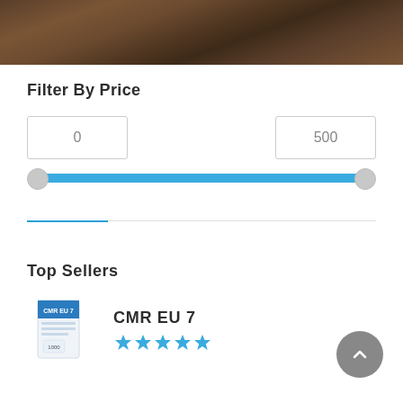[Figure (photo): Wood texture banner at top of page]
Filter By Price
[Figure (other): Price range slider with input boxes showing 0 and 500, blue filled track with two circular handles]
Top Sellers
[Figure (photo): Product image for CMR EU 7, blue and white product box]
CMR EU 7
[Figure (other): 5 star rating displayed in blue]